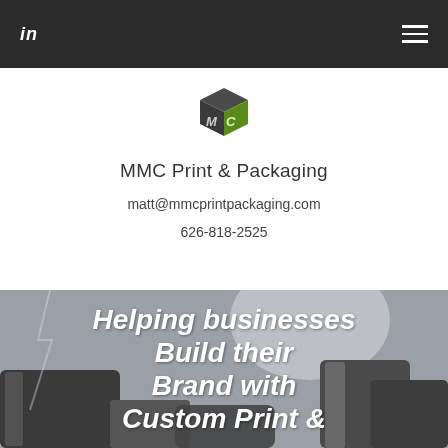in ≡
[Figure (logo): MMC Print & Packaging logo — a cube shape with 'M' in dark and 'C' in green]
MMC Print & Packaging
matt@mmcprintpackaging.com
626-818-2525
[Figure (photo): Hero image showing metallic packaging products with text overlay: Helping businesses Build their Brand with Custom Print & Packaging]